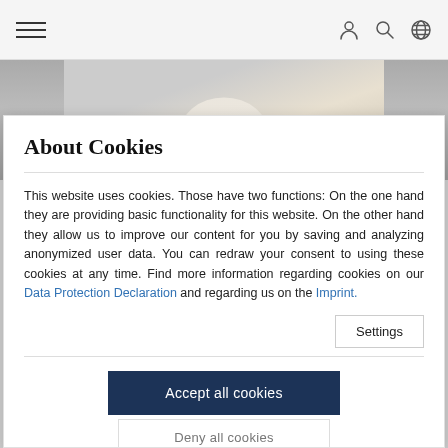Navigation header with hamburger menu and icons for user, search, globe
[Figure (photo): Partial view of a polar bear or white animal against a grey background]
About Cookies
This website uses cookies. Those have two functions: On the one hand they are providing basic functionality for this website. On the other hand they allow us to improve our content for you by saving and analyzing anonymized user data. You can redraw your consent to using these cookies at any time. Find more information regarding cookies on our Data Protection Declaration and regarding us on the Imprint.
Settings
Accept all cookies
Deny all cookies